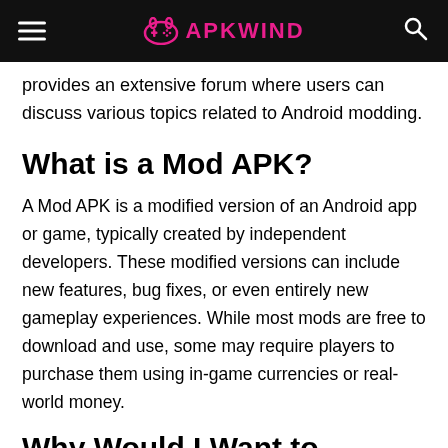APKWIND
provides an extensive forum where users can discuss various topics related to Android modding.
What is a Mod APK?
A Mod APK is a modified version of an Android app or game, typically created by independent developers. These modified versions can include new features, bug fixes, or even entirely new gameplay experiences. While most mods are free to download and use, some may require players to purchase them using in-game currencies or real-world money.
Why Would I Want to Download a